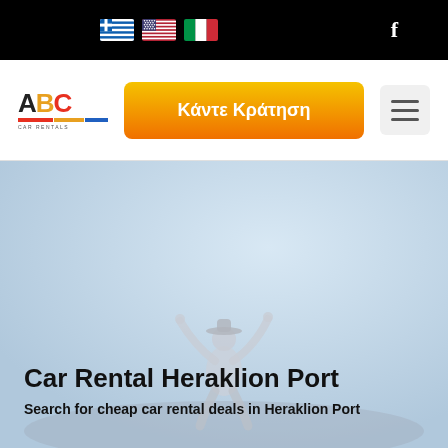[Figure (screenshot): Black top navigation bar with Greek, US, and Italian flag icons and a Facebook 'f' icon on the right]
[Figure (logo): ABC Car Rentals logo with colorful letter styling and colored bars below]
[Figure (other): Orange gradient booking button with Greek text 'Κάντε Κράτηση']
[Figure (other): Hamburger menu icon on grey background]
[Figure (photo): Hero image of person with arms raised outdoors, light blue-grey background]
Car Rental Heraklion Port
Search for cheap car rental deals in Heraklion Port